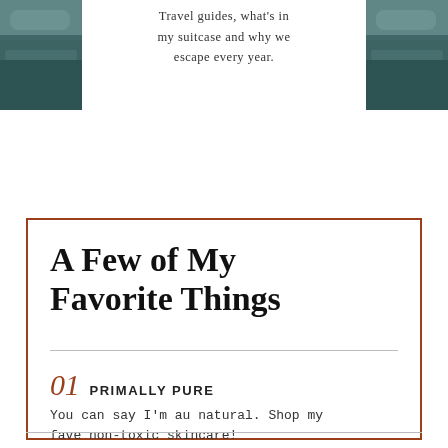[Figure (photo): Two teal/blue-green landscape photos of ocean or mountain scenery on left and right sides]
Travel guides, what's in my suitcase and why we escape every year.
A Few of My Favorite Things
01  PRIMALLY PURE
You can say I'm au natural. Shop my fave non-toxic skincare!